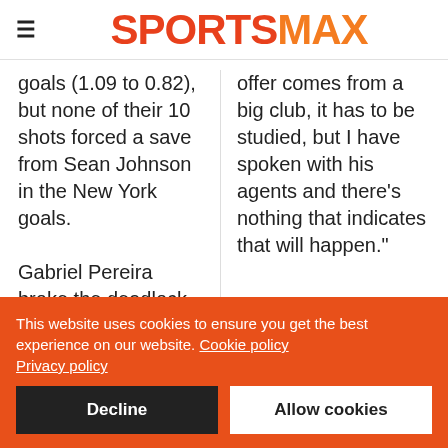SPORTSMAX
goals (1.09 to 0.82), but none of their 10 shots forced a save from Sean Johnson in the New York goals.

Gabriel Pereira broke the deadlock
offer comes from a big club, it has to be studied, but I have spoken with his agents and there's nothing that indicates that will happen."
This website uses cookies to ensure you get the best experience on our website. Cookie policy Privacy policy
Decline
Allow cookies